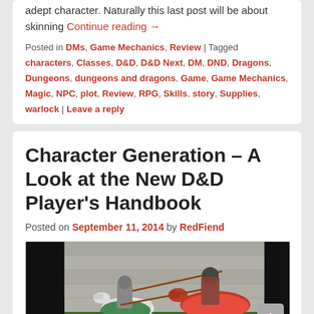adept character. Naturally this last post will be about skinning Continue reading →
Posted in DMs, Game Mechanics, Review | Tagged characters, Classes, D&D, D&D Next, DM, DND, Dragons, Dungeons, dungeons and dragons, Game, Game Mechanics, Magic, NPC, plot, Review, RPG, Skills, story, Supplies, warlock | Leave a reply
Character Generation – A Look at the New D&D Player's Handbook
Posted on September 11, 2014 by RedFiend
[Figure (photo): A jousting scene showing two armored knights on horseback — one on a white horse dressed in green, one on a red horse — facing each other with lances, in front of a stone wall background.]